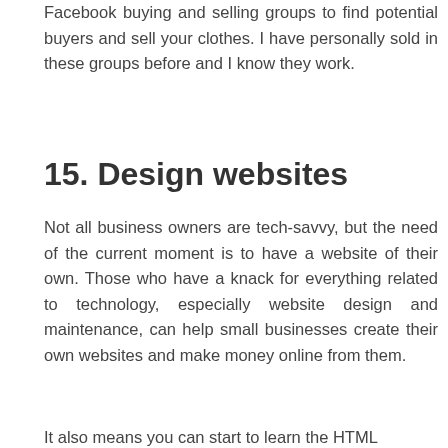Facebook buying and selling groups to find potential buyers and sell your clothes. I have personally sold in these groups before and I know they work.
15. Design websites
Not all business owners are tech-savvy, but the need of the current moment is to have a website of their own. Those who have a knack for everything related to technology, especially website design and maintenance, can help small businesses create their own websites and make money online from them.
It also means you can start to learn the HTML